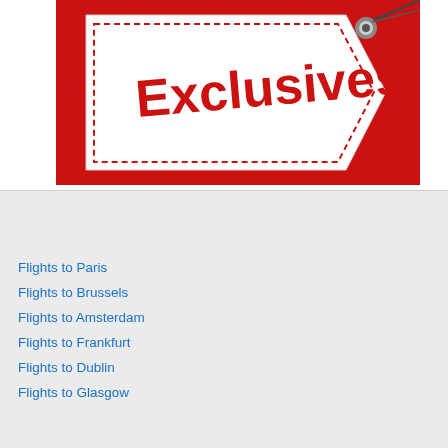[Figure (illustration): Promotional banner with a red background and a white price tag shape containing the word 'Exclusives' in red text with dashed border outline and a metal eyelet at the top right.]
Nearby Popular Destinations
Flights to Paris
Flights to Brussels
Flights to Amsterdam
Flights to Frankfurt
Flights to Dublin
Flights to Glasgow